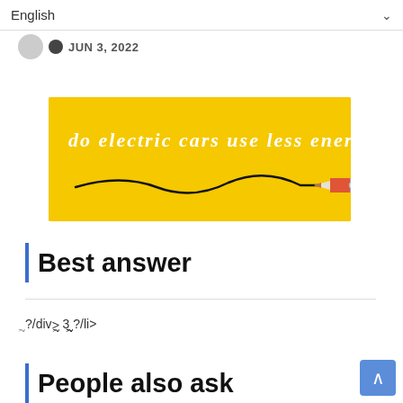English
JUN 3, 2022
[Figure (illustration): Yellow banner image with white bold italic text reading 'do electric cars use less energy' and a drawing of a pencil with a wavy line trailing behind it, on a yellow background.]
Best answer
᷿?/div>᷿᷿᷿ 3 ᷿᷿᷿᷿᷿?/li>
People also ask